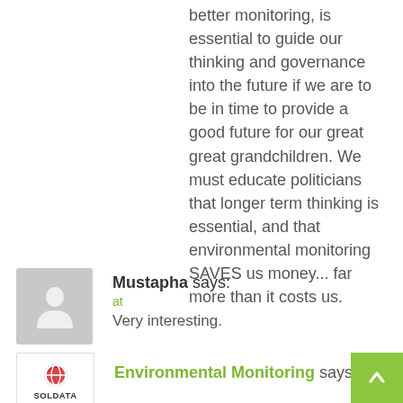better monitoring, is essential to guide our thinking and governance into the future if we are to be in time to provide a good future for our great great grandchildren. We must educate politicians that longer term thinking is essential, and that environmental monitoring SAVES us money... far more than it costs us.
[Figure (illustration): Gray placeholder avatar icon showing a silhouette of a person]
Mustapha says:
at
Very interesting.
[Figure (logo): Soldata logo with red circular emblem and SOLDATA text below]
Environmental Monitoring says: